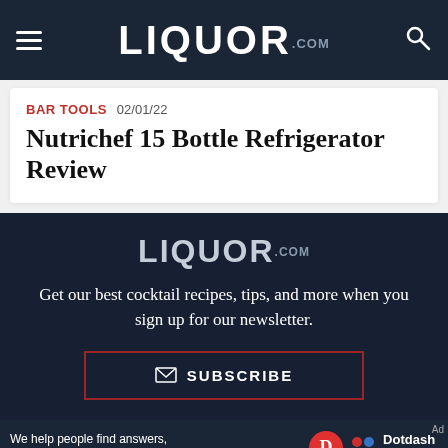LIQUOR.com navigation bar with hamburger menu and search icon
BAR TOOLS  02/01/22
Nutrichef 15 Bottle Refrigerator Review
[Figure (logo): LIQUOR.com logo in dark navy newsletter signup section]
Get our best cocktail recipes, tips, and more when you sign up for our newsletter.
SUBSCRIBE
We help people find answers, solve problems and get inspired. Dotdash meredith